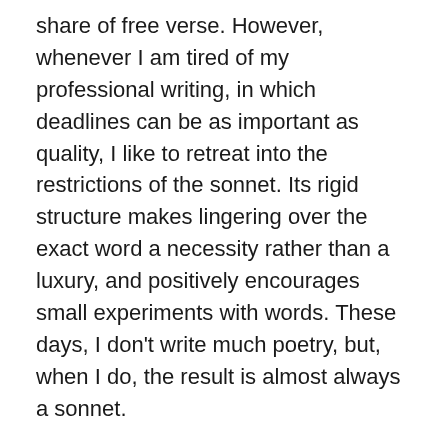share of free verse. However, whenever I am tired of my professional writing, in which deadlines can be as important as quality, I like to retreat into the restrictions of the sonnet. Its rigid structure makes lingering over the exact word a necessity rather than a luxury, and positively encourages small experiments with words. These days, I don't write much poetry, but, when I do, the result is almost always a sonnet.
Sonnets betray their origins in Italian with their intricate rhyme schemes. In English, which is far more rhyme-impoverished than Italian, the rhyming alone makes sonnets a challenge.
But the strict rules are not just in the rhymes, nor even the iambic pentameter. By tradition, the sonnet is about a serious subject – usually, but not always love (another sign